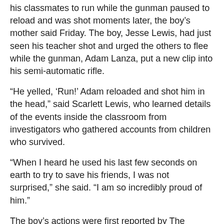his classmates to run while the gunman paused to reload and was shot moments later, the boy's mother said Friday. The boy, Jesse Lewis, had just seen his teacher shot and urged the others to flee while the gunman, Adam Lanza, put a new clip into his semi-automatic rifle.
“He yelled, ‘Run!’ Adam reloaded and shot him in the head,” said Scarlett Lewis, who learned details of the events inside the classroom from investigators who gathered accounts from children who survived.
“When I heard he used his last few seconds on earth to try to save his friends, I was not surprised,” she said. “I am so incredibly proud of him.”
The boy’s actions were first reported by The Hartford Courant. Lanza shot his way into the school on Dec. 14 and killed 20 first-grade